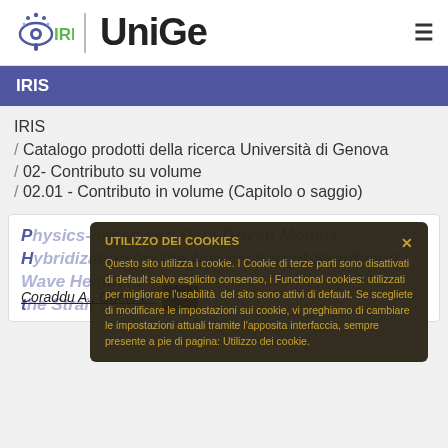IRIS | UniGe
IRIS
IRIS / Catalogo prodotti della ricerca Università di Genova / 02- Contributo su volume / 02.01 - Contributo in volume (Capitolo o saggio)
Physics-based and Data-Driven Models Hybridization for the Nowcasting of Significant Wave Height in the Strait of Gibraltar
Coraddu A.; Oneto L.
UTILIZZO DEI COOKIES
Questo sito utilizza i cookie. I Cookie di terze parti sono disattivati di default salvo esplicito consenso, i Functional cookies: utilizzati per migliorare l'usabilità del sito sono attivi di default. Se scegliete di modificare le impostazioni sui cookie, vi preghiamo di cambiare le impostazioni attuali tramite l'apposita interfaccia, sempre presente a pie di pagina: Utilizzo dei cookie.